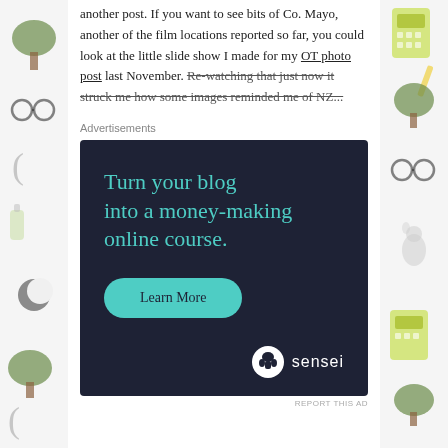another post. If you want to see bits of Co. Mayo, another of the film locations reported so far, you could look at the little slide show I made for my OT photo post last November. Re-watching that just now it struck me how some images reminded me of NZ...
Advertisements
[Figure (infographic): Dark navy advertisement for Sensei. Headline in teal: 'Turn your blog into a money-making online course.' Teal rounded button: 'Learn More'. Sensei logo (icon + wordmark) bottom right in white.]
REPORT THIS AD